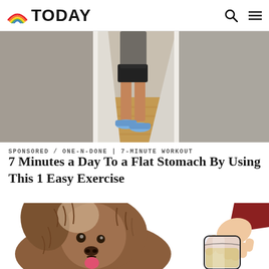TODAY
[Figure (photo): A person standing in a hallway wearing black shorts and blue sneakers, shot from the waist down, with wooden floors and white walls.]
SPONSORED / ONE-N-DONE | 7-MINUTE WORKOUT
7 Minutes a Day To a Flat Stomach By Using This 1 Easy Exercise
[Figure (illustration): Illustration of a fluffy brown and white dog looking forward, next to a hand pouring liquid from a glass bottle.]